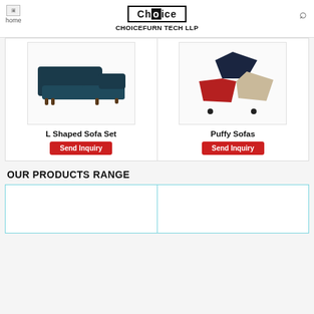home | Choice | CHOICEFURN TECH LLP
[Figure (photo): L Shaped dark navy blue sectional sofa set]
L Shaped Sofa Set
Send Inquiry
[Figure (photo): Puffy sofas in red, navy, and beige geometric shapes]
Puffy Sofas
Send Inquiry
OUR PRODUCTS RANGE